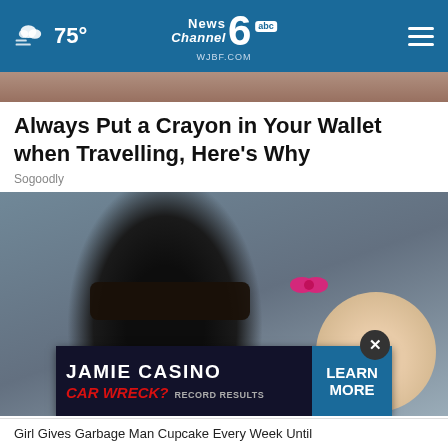75° News Channel 6 abc WJBF.COM
[Figure (photo): Cropped top portion of a photo, partially visible]
Always Put a Crayon in Your Wallet when Travelling, Here's Why
Sogoodly
[Figure (photo): Man wearing dark cap and sunglasses smiling with a young girl who has a pink bow in her hair]
[Figure (infographic): Advertisement: JAMIE CASINO CAR WRECK? RECORD RESULTS LEARN MORE]
Girl Gives Garbage Man Cupcake Every Week Until